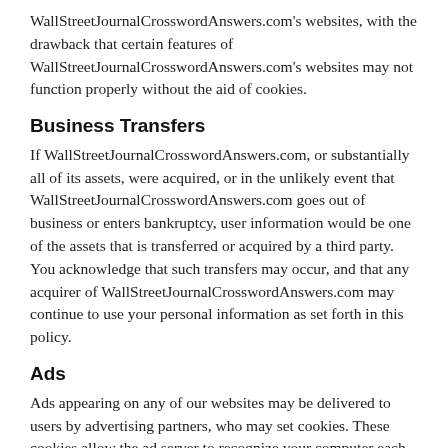WallStreetJournalCrosswordAnswers.com's websites, with the drawback that certain features of WallStreetJournalCrosswordAnswers.com's websites may not function properly without the aid of cookies.
Business Transfers
If WallStreetJournalCrosswordAnswers.com, or substantially all of its assets, were acquired, or in the unlikely event that WallStreetJournalCrosswordAnswers.com goes out of business or enters bankruptcy, user information would be one of the assets that is transferred or acquired by a third party. You acknowledge that such transfers may occur, and that any acquirer of WallStreetJournalCrosswordAnswers.com may continue to use your personal information as set forth in this policy.
Ads
Ads appearing on any of our websites may be delivered to users by advertising partners, who may set cookies. These cookies allow the ad server to recognize your computer each time they send you an online advertisement to compile information about you or others who use your